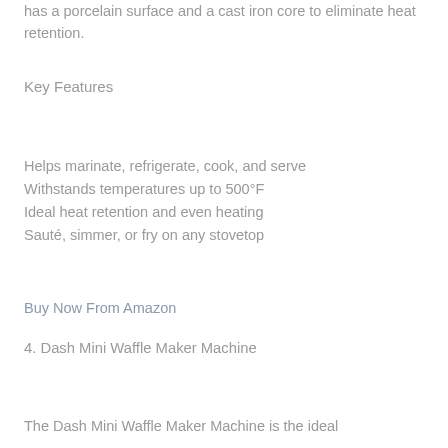has a porcelain surface and a cast iron core to eliminate heat retention.
Key Features
Helps marinate, refrigerate, cook, and serve
Withstands temperatures up to 500°F
Ideal heat retention and even heating
Sauté, simmer, or fry on any stovetop
Buy Now From Amazon
4. Dash Mini Waffle Maker Machine
The Dash Mini Waffle Maker Machine is the ideal